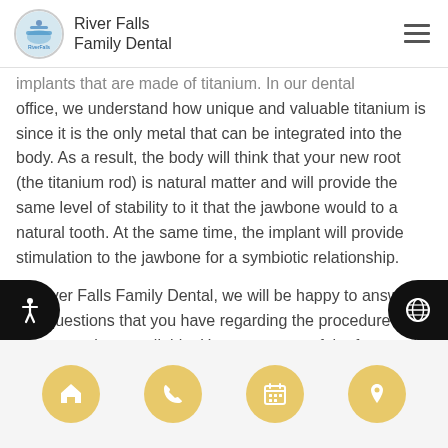River Falls Family Dental
implants that are made of titanium. In our dental office, we understand how unique and valuable titanium is since it is the only metal that can be integrated into the body. As a result, the body will think that your new root (the titanium rod) is natural matter and will provide the same level of stability to it that the jawbone would to a natural tooth. At the same time, the implant will provide stimulation to the jawbone for a symbiotic relationship.
At River Falls Family Dental, we will be happy to answer any questions that you have regarding the procedure and the two options available. Here are some of the frequently asked questions that we get